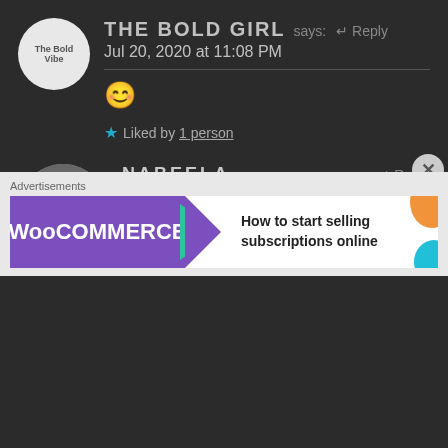THE BOLD GIRL says: Reply
Jul 20, 2020 at 11:08 PM
😊
★ Liked by 1 person
NABEELA says: Reply
Jul 23, 2020 at 3:23 AM
I hate religious people....
★ Liked by 1 person
Advertisements
[Figure (screenshot): WooCommerce advertisement banner with purple background, green arrow, orange and teal decorative shapes. Text reads: How to start selling subscriptions online]